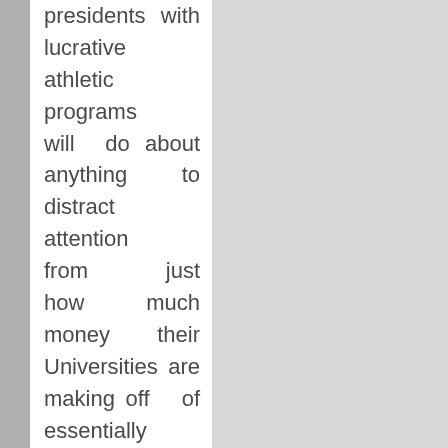presidents with lucrative athletic programs will do about anything to distract attention from just how much money their Universities are making off of essentially unpaid labor. Their